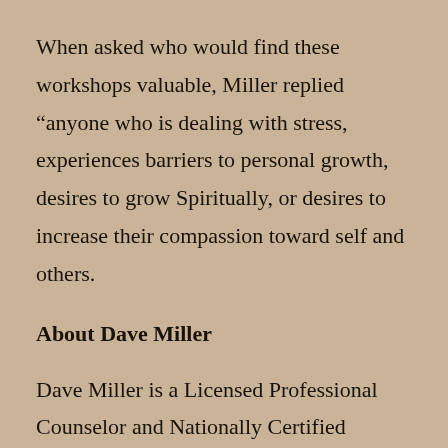When asked who would find these workshops valuable, Miller replied “anyone who is dealing with stress, experiences barriers to personal growth, desires to grow Spiritually, or desires to increase their compassion toward self and others.
About Dave Miller
Dave Miller is a Licensed Professional Counselor and Nationally Certified Counselor, with Master’s degrees in Community Counseling and Theological Studies. As a Lay